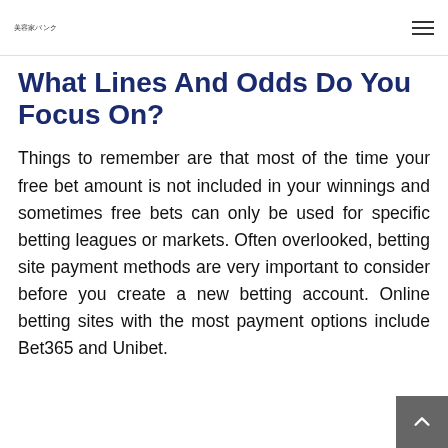美容家バンク
What Lines And Odds Do You Focus On?
Things to remember are that most of the time your free bet amount is not included in your winnings and sometimes free bets can only be used for specific betting leagues or markets. Often overlooked, betting site payment methods are very important to consider before you create a new betting account. Online betting sites with the most payment options include Bet365 and Unibet.